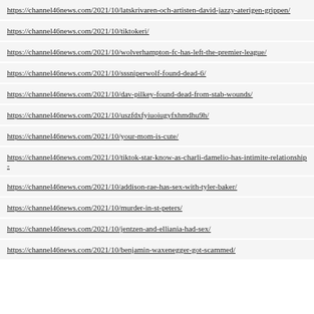https://channel46news.com/2021/10/latskrivaren-och-artisten-david-jazzy-aterigen-grippen/
https://channel46news.com/2021/10/tiktokeri/
https://channel46news.com/2021/10/wolverhampton-fc-has-left-the-premier-league/
https://channel46news.com/2021/10/sssniperwolf-found-dead-6/
https://channel46news.com/2021/10/dav-pilkey-found-dead-from-stab-wounds/
https://channel46news.com/2021/10/uszfdxfyiuoiugyfxhmdhu9h/
https://channel46news.com/2021/10/your-mom-is-cute/
https://channel46news.com/2021/10/tiktok-star-know-as-charli-damelio-has-intimite-relationship-
https://channel46news.com/2021/10/addison-rae-has-sex-with-tyler-baker/
https://channel46news.com/2021/10/murder-in-st-peters/
https://channel46news.com/2021/10/jentzen-and-elliania-had-sex/
https://channel46news.com/2021/10/benjamin-waxenegger-got-scammed/